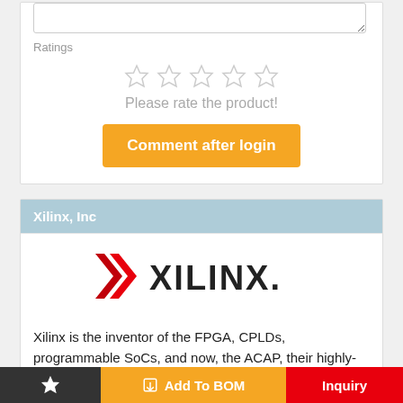Ratings
[Figure (other): Five empty star rating icons in a row]
Please rate the product!
Comment after login
Xilinx, Inc
[Figure (logo): Xilinx company logo — red X arrow icon followed by XILINX. text]
Xilinx is the inventor of the FPGA, CPLDs, programmable SoCs, and now, the ACAP, their highly-flexible programmable silicon
Add To BOM
Inquiry